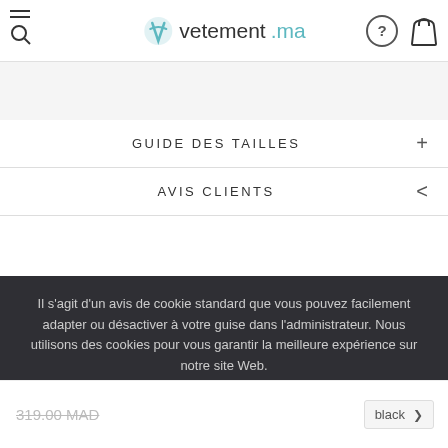vetement.ma — navigation header with hamburger/search icon, logo, help icon, and bag icon
GUIDE DES TAILLES +
AVIS CLIENTS <
Il s'agit d'un avis de cookie standard que vous pouvez facilement adapter ou désactiver à votre guise dans l'administrateur. Nous utilisons des cookies pour vous garantir la meilleure expérience sur notre site Web.
Produits Similaires
POLITIQUE DE CONFIDENTIALITÉ   J'ACCEPTE ✓
319.00 MAD   black ▾